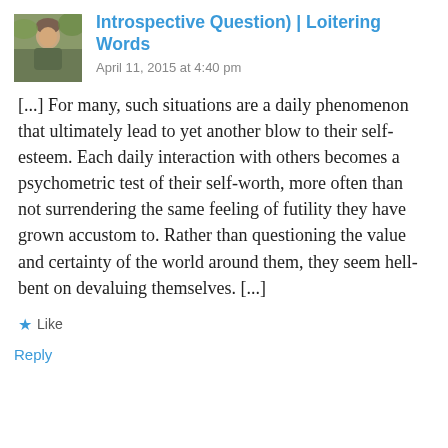[Figure (photo): Small square avatar photo of a person outdoors, earthy/green tones]
Introspective Question) | Loitering Words
April 11, 2015 at 4:40 pm
[...] For many, such situations are a daily phenomenon that ultimately lead to yet another blow to their self-esteem. Each daily interaction with others becomes a psychometric test of their self-worth, more often than not surrendering the same feeling of futility they have grown accustom to. Rather than questioning the value and certainty of the world around them, they seem hell-bent on devaluing themselves. [...]
Like
Reply